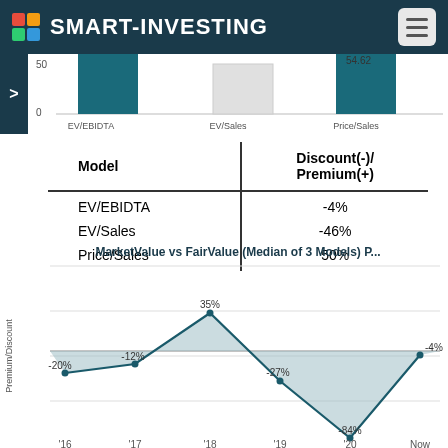SMART-INVESTING
[Figure (bar-chart): EV/EBIDTA, EV/Sales, Price/Sales]
| Model | Discount(-)/ Premium(+) |
| --- | --- |
| EV/EBIDTA | -4% |
| EV/Sales | -46% |
| Price/Sales | 50% |
[Figure (area-chart): MarketValue vs FairValue (Median of 3 Models) P...]